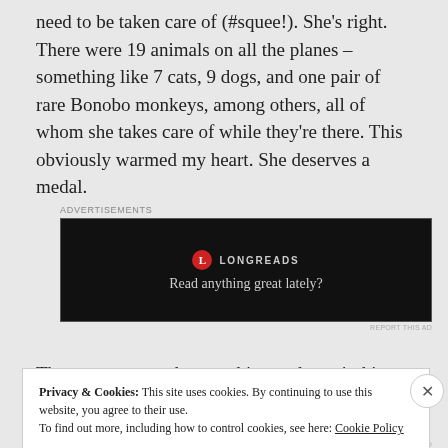need to be taken care of (#squee!). She's right. There were 19 animals on all the planes – something like 7 cats, 9 dogs, and one pair of rare Bonobo monkeys, among others, all of whom she takes care of while they're there. This obviously warmed my heart. She deserves a medal.
[Figure (screenshot): Longreads advertisement banner with black background, red circular logo with 'L', text 'LONGREADS' and tagline 'Read anything great lately?']
There are many other touching and tear-jerking story
Privacy & Cookies: This site uses cookies. By continuing to use this website, you agree to their use. To find out more, including how to control cookies, see here: Cookie Policy
Close and accept